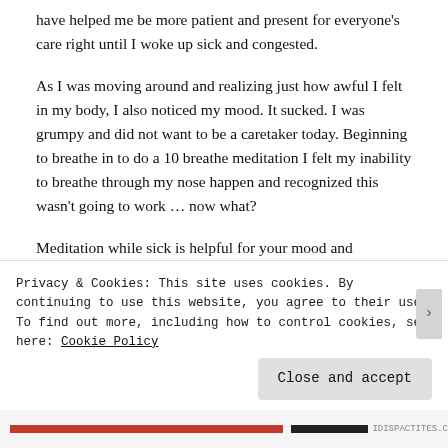have helped me be more patient and present for everyone's care right until I woke up sick and congested.
As I was moving around and realizing just how awful I felt in my body, I also noticed my mood. It sucked. I was grumpy and did not want to be a caretaker today. Beginning to breathe in to do a 10 breathe meditation I felt my inability to breathe through my nose happen and recognized this wasn't going to work … now what?
Meditation while sick is helpful for your mood and
Privacy & Cookies: This site uses cookies. By continuing to use this website, you agree to their use. To find out more, including how to control cookies, see here: Cookie Policy
Close and accept